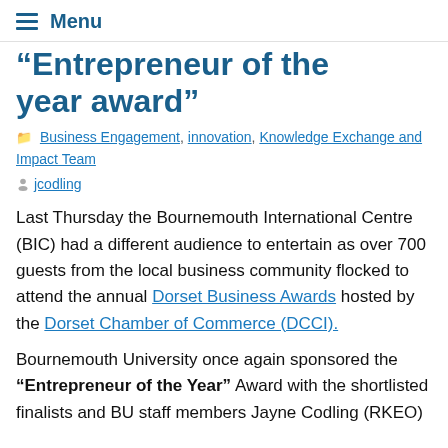Menu
“Entrepreneur of the year award”
Business Engagement, innovation, Knowledge Exchange and Impact Team
jcodling
Last Thursday the Bournemouth International Centre (BIC) had a different audience to entertain as over 700 guests from the local business community flocked to attend the annual Dorset Business Awards hosted by the Dorset Chamber of Commerce (DCCI).
Bournemouth University once again sponsored the “Entrepreneur of the Year” Award with the shortlisted finalists and BU staff members Jayne Codling (RKEO)